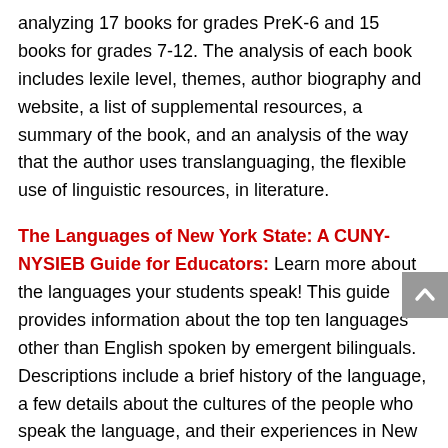analyzing 17 books for grades PreK-6 and 15 books for grades 7-12. The analysis of each book includes lexile level, themes, author biography and website, a list of supplemental resources, a summary of the book, and an analysis of the way that the author uses translanguaging, the flexible use of linguistic resources, in literature.
The Languages of New York State: A CUNY-NYSIEB Guide for Educators: Learn more about the languages your students speak! This guide provides information about the top ten languages other than English spoken by emergent bilinguals. Descriptions include a brief history of the language, a few details about the cultures of the people who speak the language, and their experiences in New York State. It also includes some basic structural features of the languages as well as cognates and basic phrases.